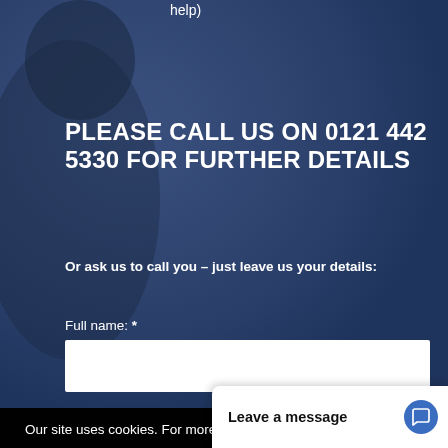help)
PLEASE CALL US ON 0121 442 5330 FOR FURTHER DETAILS
Or ask us to call you – just leave us your details:
Full name: *
Our site uses cookies. For more information, see our cookie policy.
Accept cookies and close
Phone
Reject cooki...
Leave a message
Additional details